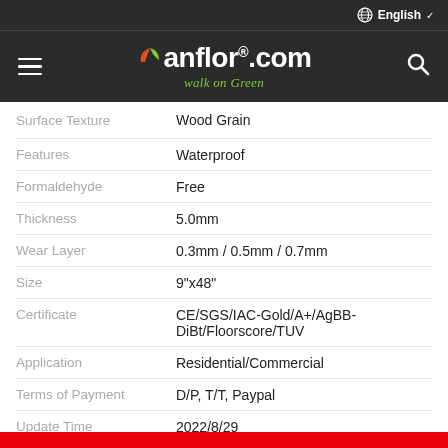hanflor.com — walk on Green | English
| Property | Value |
| --- | --- |
| Surface Texture | Wood Grain |
| Features | Waterproof |
| Formaldehyde | Free |
| Thickness | 5.0mm |
| Wear Layer | 0.3mm / 0.5mm / 0.7mm |
| Size | 9"x48" |
| Certificate | CE/SGS/IAC-Gold/A+/AgBB-DiBt/Floorscore/TUV |
| Application | Residential/Commercial |
| Terms of Payment | D/P, T/T, Paypal |
| Update Time | 2022/8/29 |